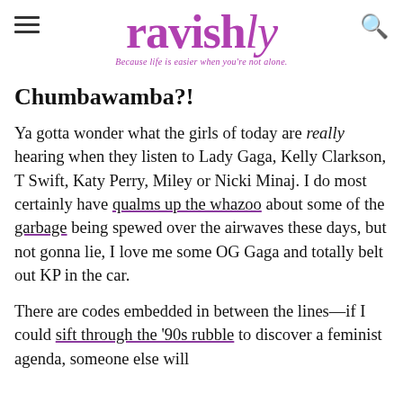ravishly — Because life is easier when you're not alone.
Chumbawamba?!
Ya gotta wonder what the girls of today are really hearing when they listen to Lady Gaga, Kelly Clarkson, T Swift, Katy Perry, Miley or Nicki Minaj. I do most certainly have qualms up the whazoo about some of the garbage being spewed over the airwaves these days, but not gonna lie, I love me some OG Gaga and totally belt out KP in the car.
There are codes embedded in between the lines—if I could sift through the '90s rubble to discover a feminist agenda, someone else will